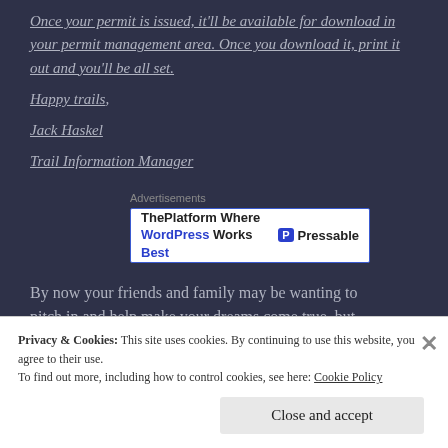Once your permit is issued, it'll be available for download in your permit management area. Once you download it, print it out and you'll be all set.
Happy trails,
Jack Haskel
Trail Information Manager
[Figure (screenshot): Advertisement banner: 'ThePlatform Where WordPress Works Best' with Pressable logo]
By now your friends and family may be wanting to pitch in and help make your dreams come true, but
Privacy & Cookies: This site uses cookies. By continuing to use this website, you agree to their use.
To find out more, including how to control cookies, see here: Cookie Policy
Close and accept